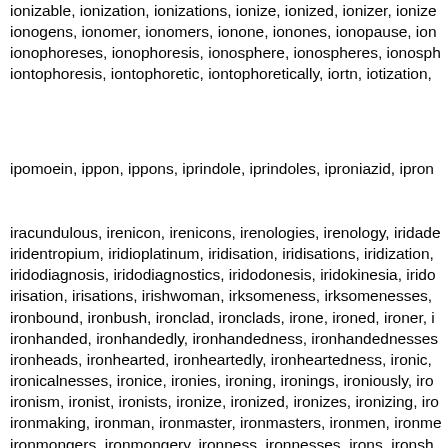ionizable, ionization, ionizations, ionize, ionized, ionizer, ionize ionogens, ionomer, ionomers, ionone, ionones, ionopause, ion ionophoreses, ionophoresis, ionosphere, ionospheres, ionosph iontophoresis, iontophoretic, iontophoretically, iortn, iotization,
ipomoein, ippon, ippons, iprindole, iprindoles, iproniazid, ipron
iracundulous, irenicon, irenicons, irenologies, irenology, iridade iridentropium, iridioplatinum, iridisation, iridisations, iridization, iridodiagnosis, iridodiagnostics, iridodonesis, iridokinesia, irido irisation, irisations, irishwoman, irksomeness, irksomenesses, ironbound, ironbush, ironclad, ironclads, irone, ironed, ironer, i ironhanded, ironhandedly, ironhandedness, ironhandednesses ironheads, ironhearted, ironheartedly, ironheartedness, ironic, ironicalnesses, ironice, ironies, ironing, ironings, ironiously, iro ironism, ironist, ironists, ironize, ironized, ironizes, ironizing, iro ironmaking, ironman, ironmaster, ironmasters, ironmen, ironme ironmongers, ironmongery, ironness, ironnesses, irons, ironsh ironsmith, ironsmiths, ironstone, ironstones, ironware, ironware ironwoods, ironwork, ironworked, ironworker, ironworkers, iron iroquoian, iroquoians, irradiation, irradiations, irrationability, irra irrationalise, irrationalised, irrationalises, irrationalising, irratio irrationalistic, irrationalists, irrationalities, irrationality, irrational irrationalizng, irrationally, irrationalness, irrationalnesses, irrat irrecognitions, irrecognizability, irrecognizable, irrecognizably, irreconcilabilities, irreconcilability, irreconcilable, irreconcilable